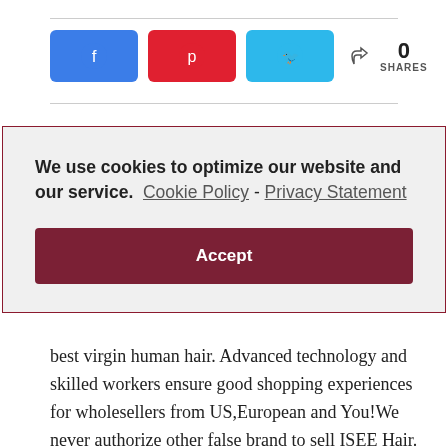[Figure (infographic): Social share buttons: Facebook (blue), Pinterest (red), Twitter (light blue), and a share count showing 0 SHARES]
We use cookies to optimize our website and our service.  Cookie Policy - Privacy Statement
Accept
best virgin human hair. Advanced technology and skilled workers ensure good shopping experiences for wholesellers from US,European and You!We never authorize other false brand to sell ISEE Hair.